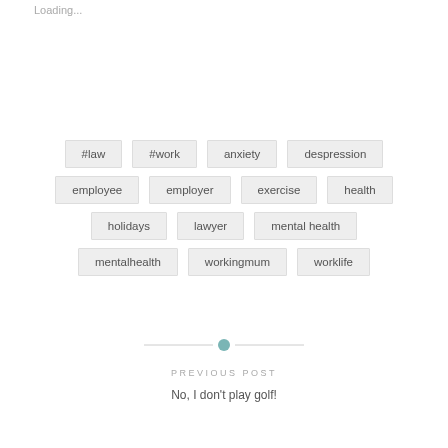Loading...
#law
#work
anxiety
despression
employee
employer
exercise
health
holidays
lawyer
mental health
mentalhealth
workingmum
worklife
PREVIOUS POST
No, I don't play golf!